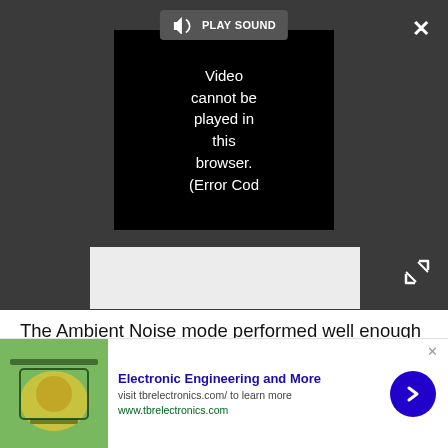[Figure (screenshot): Video player UI showing a darkened browser control bar with a speaker/volume icon and 'PLAY SOUND' button, a black video frame with error message 'Video cannot be played in this browser. (Error Cod', a close (X) button top-right, and an expand button bottom-right. Below the player is a gray advertisement placeholder area.]
The Ambient Noise mode performed well enough for me to hear conductor announcements and eavesdrop on nearby conversations. The headphones let in a good amount of noise, so I could fully interpret
[Figure (infographic): Advertisement banner for 'Electronic Engineering and More' from tbrelectronics.com, showing a colorful circuit board image on the left, ad text in the center, and a blue circular arrow/CTA button on the right.]